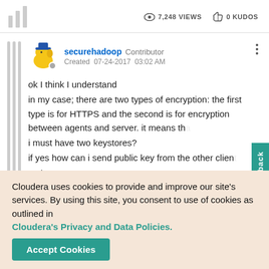7,248 VIEWS   0 KUDOS
securehadoop   Contributor
Created   07-24-2017   03:02 AM
ok I think I understand
in my case; there are two types of encryption: the first type is for HTTPS and the second is for encryption between agents and server. it means that i must have two keystores?
if yes how can i send public key from the other client to the truststore?
Cloudera uses cookies to provide and improve our site's services. By using this site, you consent to use of cookies as outlined in Cloudera's Privacy and Data Policies.
Accept Cookies